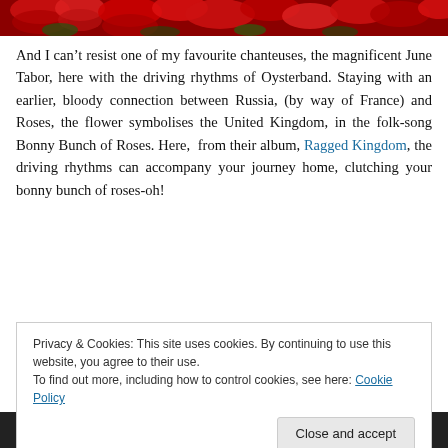[Figure (photo): Red roses image strip at top of page]
And I can't resist one of my favourite chanteuses, the magnificent June Tabor, here with the driving rhythms of Oysterband. Staying with an earlier, bloody connection between Russia, (by way of France) and Roses, the flower symbolises the United Kingdom, in the folk-song Bonny Bunch of Roses. Here, from their album, Ragged Kingdom, the driving rhythms can accompany your journey home, clutching your bonny bunch of roses-oh!
(Apologies to Welsh listeners, who might or might not feel
Privacy & Cookies: This site uses cookies. By continuing to use this website, you agree to their use.
To find out more, including how to control cookies, see here: Cookie Policy
Close and accept
[Figure (photo): Video thumbnail showing June Tabor & Oysterband - Bonny B...]